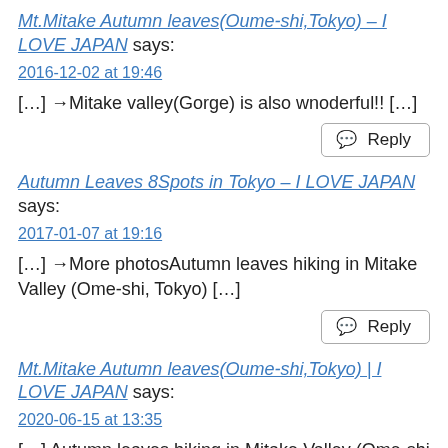Mt.Mitake Autumn leaves(Oume-shi,Tokyo) – I LOVE JAPAN says:
2016-12-02 at 19:46
[…] →Mitake valley(Gorge) is also wnoderful!! […]
Reply
Autumn Leaves 8Spots in Tokyo – I LOVE JAPAN says:
2017-01-07 at 19:16
[…] →More photosAutumn leaves hiking in Mitake Valley (Ome-shi, Tokyo) […]
Reply
Mt.Mitake Autumn leaves(Oume-shi,Tokyo) | I LOVE JAPAN says:
2020-06-15 at 13:35
[…] Autumn leaves hiking in Mitake Valley (Ome-shi